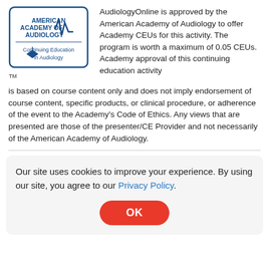[Figure (logo): American Academy of Audiology – Continuing Education in Audiology logo with TM mark]
AudiologyOnline is approved by the American Academy of Audiology to offer Academy CEUs for this activity. The program is worth a maximum of 0.05 CEUs. Academy approval of this continuing education activity is based on course content only and does not imply endorsement of course content, specific products, or clinical procedure, or adherence of the event to the Academy's Code of Ethics. Any views that are presented are those of the presenter/CE Provider and not necessarily of the American Academy of Audiology.
Our site uses cookies to improve your experience. By using our site, you agree to our Privacy Policy.